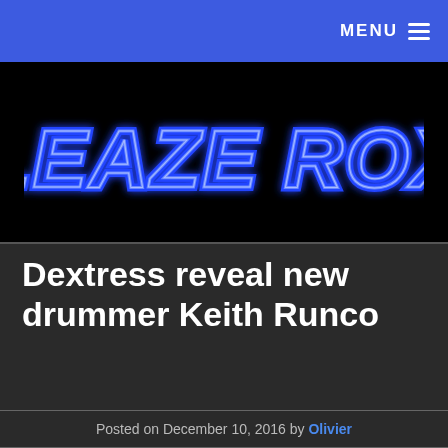MENU
[Figure (logo): Sleaze Roxx neon-style logo with blue glowing outlined lettering on black background]
Dextress reveal new drummer Keith Runco
Posted on December 10, 2016 by Olivier